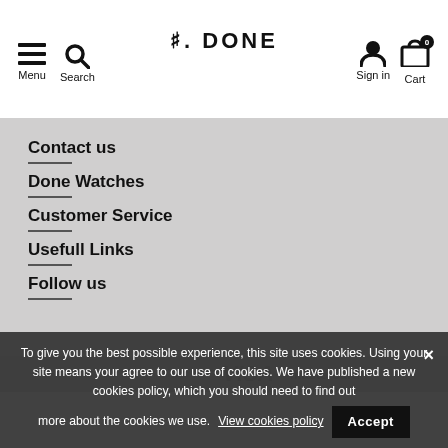Menu  Search  D. DONE  Sign in  Cart
Contact us
Done Watches
Customer Service
Usefull Links
Follow us
To give you the best possible experience, this site uses cookies. Using your site means your agree to our use of cookies. We have published a new cookies policy, which you should need to find out more about the cookies we use. View cookies policy  Accept